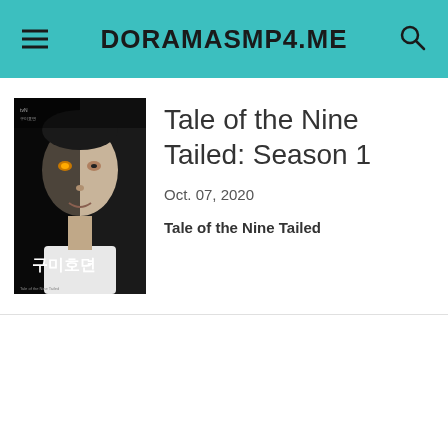DORAMASMP4.ME
[Figure (photo): Movie/drama poster for Tale of the Nine Tailed, showing a man's face split between a dark and light side with glowing amber eyes, with Korean text overlay]
Tale of the Nine Tailed: Season 1
Oct. 07, 2020
Tale of the Nine Tailed